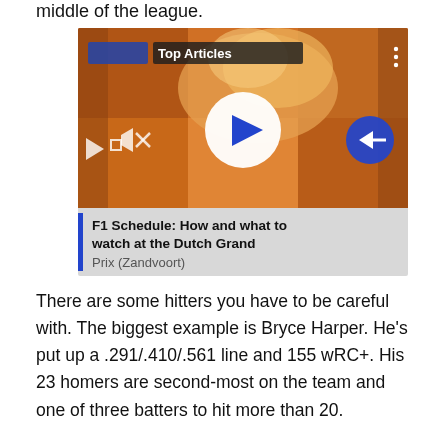middle of the league.
[Figure (screenshot): Video player screenshot showing a crowd of orange-clad fans with smoke/flares. Overlay shows 'Top Articles' label, a white circular play button in center, mute icon, a blue arrow button on the right, and at the bottom a text caption reading: 'F1 Schedule: How and what to watch at the Dutch Grand Prix (Zandvoort)']
There are some hitters you have to be careful with. The biggest example is Bryce Harper. He's put up a .291/.410/.561 line and 155 wRC+. His 23 homers are second-most on the team and one of three batters to hit more than 20.